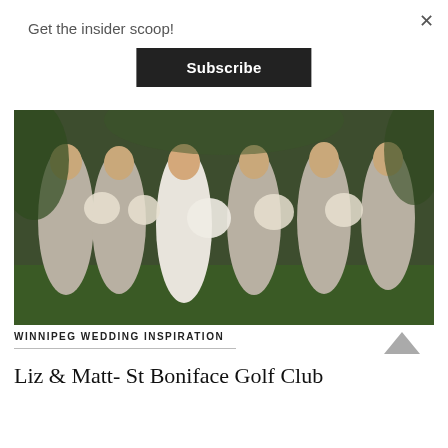Get the insider scoop!
Subscribe
[Figure (photo): A bride in a white gown and five bridesmaids in taupe/grey floor-length dresses holding white floral bouquets, smiling and laughing outdoors in front of green foliage.]
WINNIPEG WEDDING INSPIRATION
Liz & Matt- St Boniface Golf Club